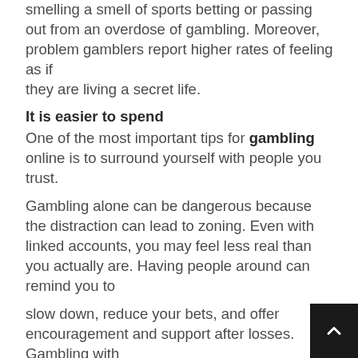smelling a smell of sports betting or passing out from an overdose of gambling. Moreover, problem gamblers report higher rates of feeling as if they are living a secret life.
It is easier to spend
One of the most important tips for gambling online is to surround yourself with people you trust. Gambling alone can be dangerous because the distraction can lead to zoning. Even with linked accounts, you may feel less real than you actually are. Having people around can remind you to slow down, reduce your bets, and offer encouragement and support after losses. Gambling with a friend or loved one can also help you recover